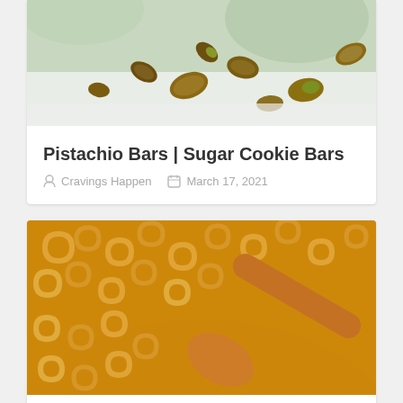[Figure (photo): Close-up photo of pistachio bars / sugar cookie bars topped with pistachios on a white surface]
Pistachio Bars | Sugar Cookie Bars
Cravings Happen   March 17, 2021
[Figure (photo): Close-up photo of mac and cheese in a wooden bowl with a wooden spoon]
Vegan Mac and Cheese Recipe...